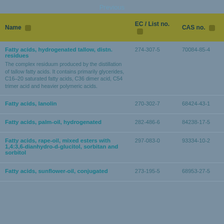Previous
| Name | EC / List no. | CAS no. |
| --- | --- | --- |
| Fatty acids, hydrogenated tallow, distn. residues – The complex residuum produced by the distillation of tallow fatty acids. It contains primarily glycerides, C16-20 saturated fatty acids, C36 dimer acid, C54 trimer acid and heavier polymeric acids. | 274-307-5 | 70084-85-4 |
| Fatty acids, lanolin | 270-302-7 | 68424-43-1 |
| Fatty acids, palm-oil, hydrogenated | 282-486-6 | 84238-17-5 |
| Fatty acids, rape-oil, mixed esters with 1,4:3,6-dianhydro-d-glucitol, sorbitan and sorbitol | 297-083-0 | 93334-10-2 |
| Fatty acids, sunflower-oil, conjugated | 273-195-5 | 68953-27-5 |